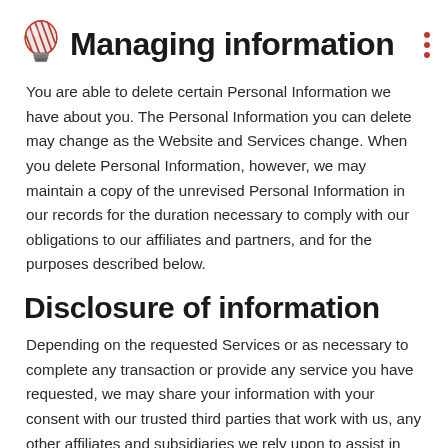Managing information
You are able to delete certain Personal Information we have about you. The Personal Information you can delete may change as the Website and Services change. When you delete Personal Information, however, we may maintain a copy of the unrevised Personal Information in our records for the duration necessary to comply with our obligations to our affiliates and partners, and for the purposes described below.
Disclosure of information
Depending on the requested Services or as necessary to complete any transaction or provide any service you have requested, we may share your information with your consent with our trusted third parties that work with us, any other affiliates and subsidiaries we rely upon to assist in the operation of the Website and